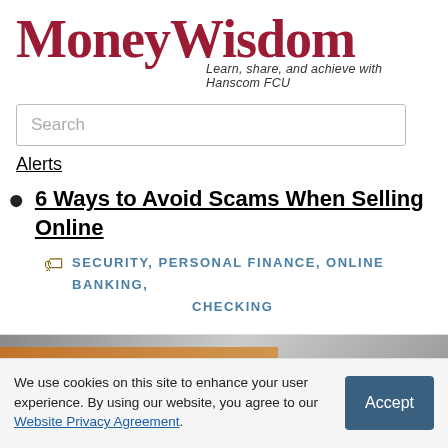MoneyWisdom — Learn, share, and achieve with Hanscom FCU
Search
Alerts
6 Ways to Avoid Scams When Selling Online
SECURITY, PERSONAL FINANCE, ONLINE BANKING, CHECKING
[Figure (photo): Preview image strip showing a partially visible article thumbnail with orange/golden and dark grey tones]
We use cookies on this site to enhance your user experience. By using our website, you agree to our Website Privacy Agreement.